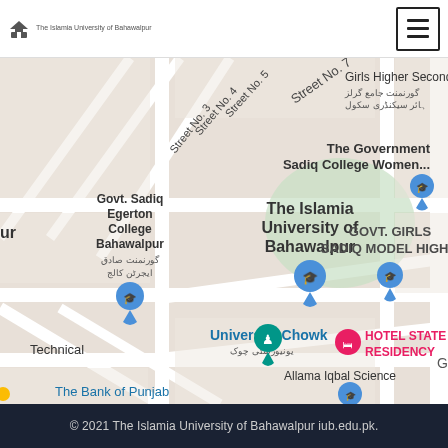The Islamia University of Bahawalpur
[Figure (map): Google Maps screenshot showing the area around The Islamia University of Bahawalpur, with street labels including Street No. 3, 4, 5, 7, and landmarks such as Govt. Sadiq Egerton College Bahawalpur, The Government Sadiq College Women, Girls Higher Secondary, GOVT. GIRLS SADIQ MODEL HIGH, University Chowk, Allama Iqbal Science College, The Bank of Punjab, HOTEL STATE RESIDENCY, and Technical area. Urdu labels also visible.]
© 2021 The Islamia University of Bahawalpur iub.edu.pk.